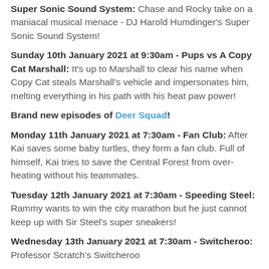Super Sonic Sound System: Chase and Rocky take on a maniacal musical menace - DJ Harold Humdinger's Super Sonic Sound System!
Sunday 10th January 2021 at 9:30am - Pups vs A Copy Cat Marshall: It's up to Marshall to clear his name when Copy Cat steals Marshall's vehicle and impersonates him, melting everything in his path with his heat paw power!
Brand new episodes of Deer Squad!
Monday 11th January 2021 at 7:30am - Fan Club: After Kai saves some baby turtles, they form a fan club. Full of himself, Kai tries to save the Central Forest from over-heating without his teammates.
Tuesday 12th January 2021 at 7:30am - Speeding Steel: Rammy wants to win the city marathon but he just cannot keep up with Sir Steel's super sneakers!
Wednesday 13th January 2021 at 7:30am - Switcheroo: Professor Scratch's Switcheroo